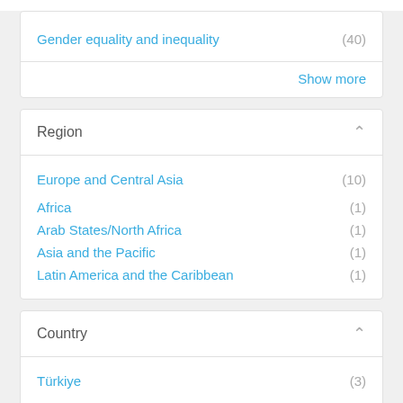Gender equality and inequality (40)
Show more
Region
Europe and Central Asia (10)
Africa (1)
Arab States/North Africa (1)
Asia and the Pacific (1)
Latin America and the Caribbean (1)
Country
Türkiye (3)
Ukraine (3)
Bangladesh (1)